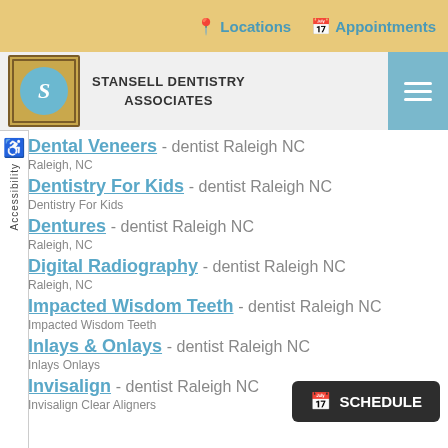Locations   Appointments
[Figure (logo): Stansell Dentistry Associates logo with decorative S monogram]
Dental Veneers - dentist Raleigh NC
Raleigh, NC
Dentistry For Kids - dentist Raleigh NC
Dentistry For Kids
Dentures - dentist Raleigh NC
Raleigh, NC
Digital Radiography - dentist Raleigh NC
Raleigh, NC
Impacted Wisdom Teeth - dentist Raleigh NC
Impacted Wisdom Teeth
Inlays & Onlays - dentist Raleigh NC
Inlays Onlays
Invisalign - dentist Raleigh NC
Invisalign Clear Aligners